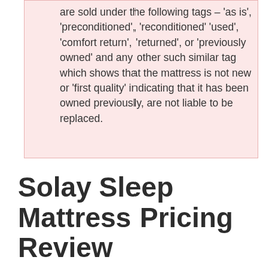are sold under the following tags – 'as is', 'preconditioned', 'reconditioned' 'used', 'comfort return', 'returned', or 'previously owned' and any other such similar tag which shows that the mattress is not new or 'first quality' indicating that it has been owned previously, are not liable to be replaced.
Solay Sleep Mattress Pricing Review